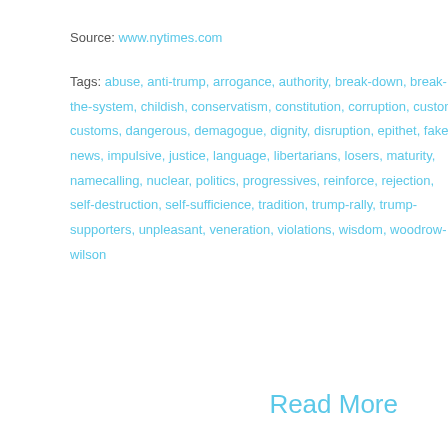Source: www.nytimes.com
Tags: abuse, anti-trump, arrogance, authority, break-down, break-the-system, childish, conservatism, constitution, corruption, custom, customs, dangerous, demagogue, dignity, disruption, epithet, fake-news, impulsive, justice, language, libertarians, losers, maturity, namecalling, nuclear, politics, progressives, reinforce, rejection, self-destruction, self-sufficience, tradition, trump-rally, trump-supporters, unpleasant, veneration, violations, wisdom, woodrow-wilson
Read More